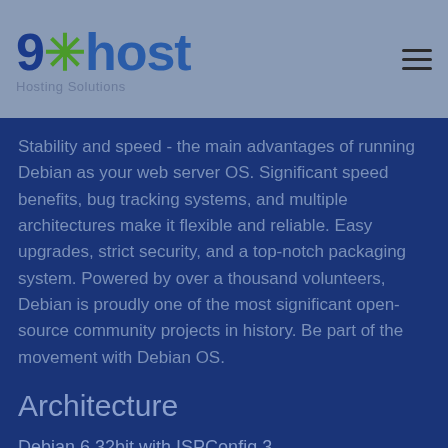9xhost Hosting Solutions
Stability and speed - the main advantages of running Debian as your web server OS. Significant speed benefits, bug tracking systems, and multiple architectures make it flexible and reliable. Easy upgrades, strict security, and a top-notch packaging system. Powered by over a thousand volunteers, Debian is proudly one of the most significant open-source community projects in history. Be part of the movement with Debian OS.
Architecture
Debian 6 32bit with ISPConfig 3
Debian 6 64bit with ISPConfig 3
Debian 7 32bit